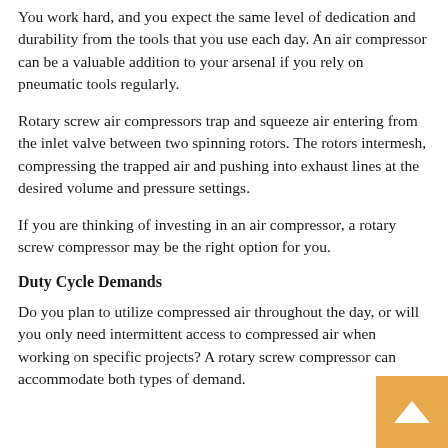You work hard, and you expect the same level of dedication and durability from the tools that you use each day. An air compressor can be a valuable addition to your arsenal if you rely on pneumatic tools regularly.
Rotary screw air compressors trap and squeeze air entering from the inlet valve between two spinning rotors. The rotors intermesh, compressing the trapped air and pushing into exhaust lines at the desired volume and pressure settings.
If you are thinking of investing in an air compressor, a rotary screw compressor may be the right option for you.
Duty Cycle Demands
Do you plan to utilize compressed air throughout the day, or will you only need intermittent access to compressed air when working on specific projects? A rotary screw compressor can accommodate both types of demand.